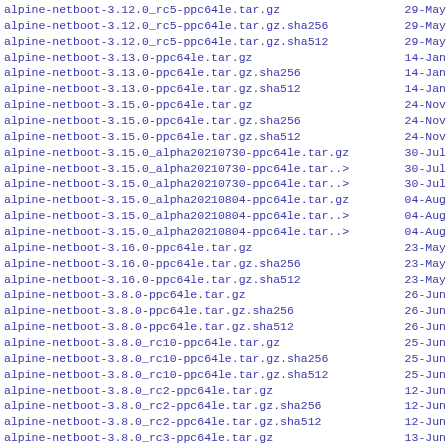| Filename | Date |
| --- | --- |
| alpine-netboot-3.12.0_rc5-ppc64le.tar.gz | 29-May |
| alpine-netboot-3.12.0_rc5-ppc64le.tar.gz.sha256 | 29-May |
| alpine-netboot-3.12.0_rc5-ppc64le.tar.gz.sha512 | 29-May |
| alpine-netboot-3.13.0-ppc64le.tar.gz | 14-Jan |
| alpine-netboot-3.13.0-ppc64le.tar.gz.sha256 | 14-Jan |
| alpine-netboot-3.13.0-ppc64le.tar.gz.sha512 | 14-Jan |
| alpine-netboot-3.15.0-ppc64le.tar.gz | 24-Nov |
| alpine-netboot-3.15.0-ppc64le.tar.gz.sha256 | 24-Nov |
| alpine-netboot-3.15.0-ppc64le.tar.gz.sha512 | 24-Nov |
| alpine-netboot-3.15.0_alpha20210730-ppc64le.tar.gz | 30-Jul |
| alpine-netboot-3.15.0_alpha20210730-ppc64le.tar..> | 30-Jul |
| alpine-netboot-3.15.0_alpha20210730-ppc64le.tar..> | 30-Jul |
| alpine-netboot-3.15.0_alpha20210804-ppc64le.tar.gz | 04-Aug |
| alpine-netboot-3.15.0_alpha20210804-ppc64le.tar..> | 04-Aug |
| alpine-netboot-3.15.0_alpha20210804-ppc64le.tar..> | 04-Aug |
| alpine-netboot-3.16.0-ppc64le.tar.gz | 23-May |
| alpine-netboot-3.16.0-ppc64le.tar.gz.sha256 | 23-May |
| alpine-netboot-3.16.0-ppc64le.tar.gz.sha512 | 23-May |
| alpine-netboot-3.8.0-ppc64le.tar.gz | 26-Jun |
| alpine-netboot-3.8.0-ppc64le.tar.gz.sha256 | 26-Jun |
| alpine-netboot-3.8.0-ppc64le.tar.gz.sha512 | 26-Jun |
| alpine-netboot-3.8.0_rc10-ppc64le.tar.gz | 25-Jun |
| alpine-netboot-3.8.0_rc10-ppc64le.tar.gz.sha256 | 25-Jun |
| alpine-netboot-3.8.0_rc10-ppc64le.tar.gz.sha512 | 25-Jun |
| alpine-netboot-3.8.0_rc2-ppc64le.tar.gz | 12-Jun |
| alpine-netboot-3.8.0_rc2-ppc64le.tar.gz.sha256 | 12-Jun |
| alpine-netboot-3.8.0_rc2-ppc64le.tar.gz.sha512 | 12-Jun |
| alpine-netboot-3.8.0_rc3-ppc64le.tar.gz | 13-Jun |
| alpine-netboot-3.8.0_rc3-ppc64le.tar.gz.sha256 | 13-Jun |
| alpine-netboot-3.8.0_rc3-ppc64le.tar.gz.sha512 | 13-Jun |
| alpine-netboot-3.8.0_rc4-ppc64le.tar.gz | 15-Jun |